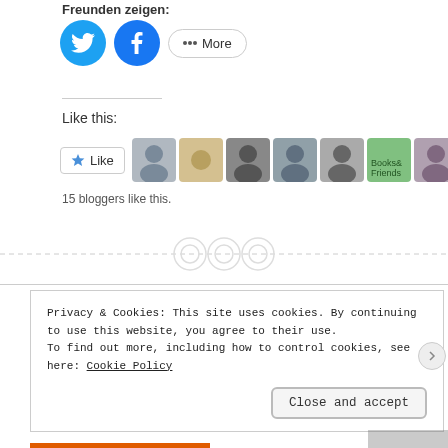Freunden zeigen:
[Figure (illustration): Social share buttons: Twitter (blue circle), Facebook (blue circle), and a More button with share icon]
Like this:
[Figure (illustration): Like button widget with star icon and 10 blogger avatar thumbnails]
15 bloggers like this.
[Figure (illustration): Three dashed circle/button icons on a dashed horizontal divider line]
Privacy & Cookies: This site uses cookies. By continuing to use this website, you agree to their use.
To find out more, including how to control cookies, see here: Cookie Policy
Close and accept